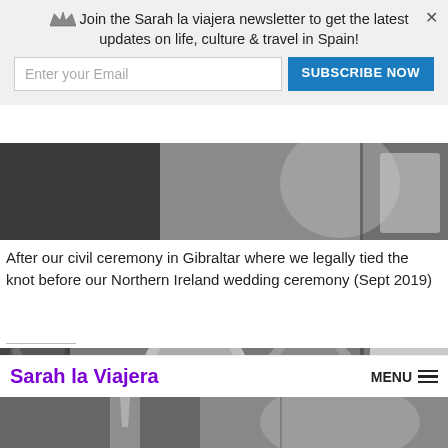[Figure (photo): Top partial black-and-white wedding photo showing bride's dress details]
After our civil ceremony in Gibraltar where we legally tied the knot before our Northern Ireland wedding ceremony (Sept 2019)
[Figure (photo): Black-and-white photo of couple kissing at civil ceremony, with flag and wedding dress visible in background]
Sarah la Viajera  MENU
[Figure (photo): Bottom partial black-and-white photo of groom adjusting tie with bride beside him]
Join the Sarah la viajera newsletter to get the latest updates on life, culture & travel in Spain!